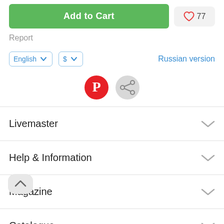[Figure (screenshot): Add to Cart green button with heart/like count of 77]
Report
[Figure (screenshot): Language dropdown (English), currency dropdown ($), and Russian version link]
[Figure (screenshot): Pinterest and share social icon buttons]
Livemaster
Help & Information
Magazine
Catalogue